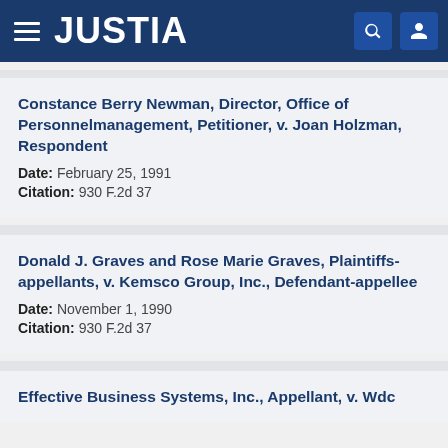JUSTIA
Constance Berry Newman, Director, Office of Personnelmanagement, Petitioner, v. Joan Holzman, Respondent
Date: February 25, 1991
Citation: 930 F.2d 37
Donald J. Graves and Rose Marie Graves, Plaintiffs-appellants, v. Kemsco Group, Inc., Defendant-appellee
Date: November 1, 1990
Citation: 930 F.2d 37
Effective Business Systems, Inc., Appellant, v. Wdc